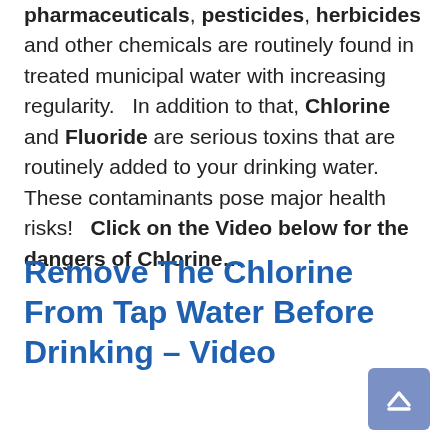pharmaceuticals, pesticides, herbicides and other chemicals are routinely found in treated municipal water with increasing regularity.   In addition to that, Chlorine and Fluoride are serious toxins that are routinely added to your drinking water.   These contaminants pose major health risks!  Click on the Video below for the dangers of Chlorine…
Remove The Chlorine From Tap Water Before Drinking – Video